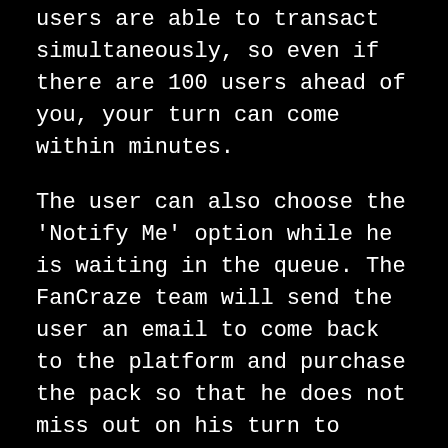users are able to transact simultaneously, so even if there are 100 users ahead of you, your turn can come within minutes.
The user can also choose the 'Notify Me' option while he is waiting in the queue. The FanCraze team will send the user an email to come back to the platform and purchase the pack so that he does not miss out on his turn to purchase the pack. If a user misses his turn to purchase a pack, he will have to rejoin and will be added to the end of the queue.
If the user's FanCraze balance is higher than the